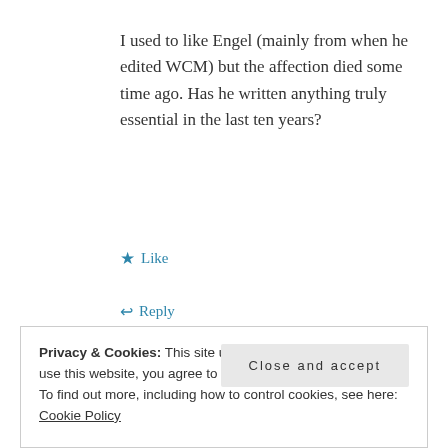I used to like Engel (mainly from when he edited WCM) but the affection died some time ago. Has he written anything truly essential in the last ten years?
★ Like
↩ Reply
LORDCANISLUPUS
Oct 21, 2017 / 11:58 am
Privacy & Cookies: This site uses cookies. By continuing to use this website, you agree to their use.
To find out more, including how to control cookies, see here: Cookie Policy
Close and accept
Englishman who wishes it was